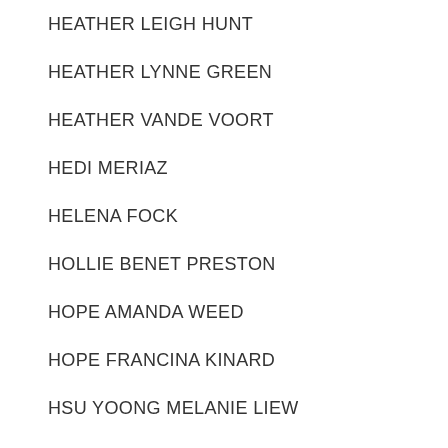HEATHER LEIGH HUNT
HEATHER LYNNE GREEN
HEATHER VANDE VOORT
HEDI MERIAZ
HELENA FOCK
HOLLIE BENET PRESTON
HOPE AMANDA WEED
HOPE FRANCINA KINARD
HSU YOONG MELANIE LIEW